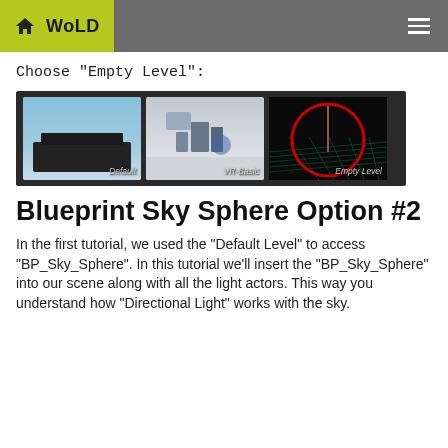WoLD
Choose "Empty Level":
[Figure (screenshot): Three level selection thumbnails: Default, VR-Basic, and Empty Level (highlighted with a red circle)]
Blueprint Sky Sphere Option #2
In the first tutorial, we used the "Default Level" to access "BP_Sky_Sphere". In this tutorial we'll insert the "BP_Sky_Sphere" into our scene along with all the light actors. This way you understand how "Directional Light" works with the sky.